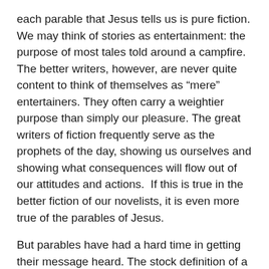each parable that Jesus tells us is pure fiction. We may think of stories as entertainment: the purpose of most tales told around a campfire.  The better writers, however, are never quite content to think of themselves as “mere” entertainers. They often carry a weightier purpose than simply our pleasure. The great writers of fiction frequently serve as the prophets of the day, showing us ourselves and showing what consequences will flow out of our attitudes and actions.  If this is true in the better fiction of our novelists, it is even more true of the parables of Jesus.
But parables have had a hard time in getting their message heard. The stock definition of a parable is “an earthly story with a heavenly meaning.”  Then the sub-commentary goes on to tell us that Jesus used simple stories to make complex ideas easier to understand. But